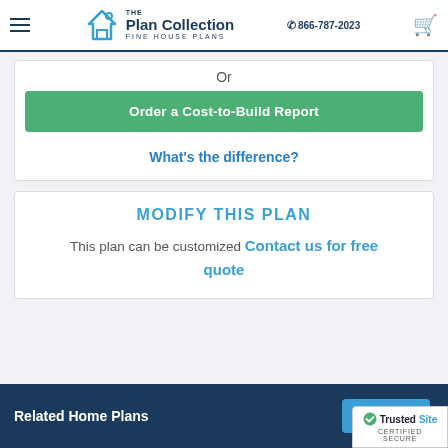The Plan Collection FINE HOUSE PLANS | 866-787-2023
Or
Order a Cost-to-Build Report
What's the difference?
MODIFY THIS PLAN
This plan can be customized Contact us for free quote
Related Home Plans
VIEW ALL